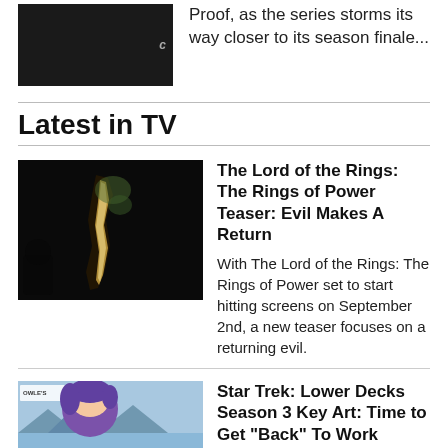Proof, as the series storms its way closer to its season finale...
Latest in TV
The Lord of the Rings: The Rings of Power Teaser: Evil Makes A Return
With The Lord of the Rings: The Rings of Power set to start hitting screens on September 2nd, a new teaser focuses on a returning evil.
Star Trek: Lower Decks Season 3 Key Art: Time to Get "Back" To Work